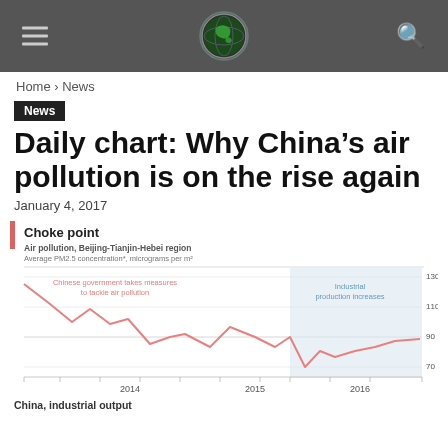Home › News
News
Daily chart: Why China's air pollution is on the rise again
January 4, 2017
[Figure (line-chart): Line chart showing PM2.5 air pollution concentration in Beijing-Tianjin-Hebei region from 2013 to 2016, with a declining trend followed by an increase. Y-axis ranges from ~60 to 130.]
China, industrial output